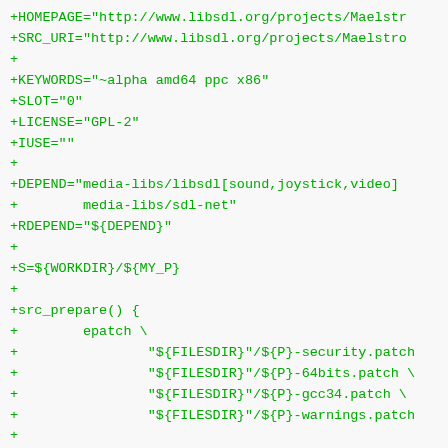+HOMEPAGE="http://www.libsdl.org/projects/Maelstr
+SRC_URI="http://www.libsdl.org/projects/Maelstro
+
+KEYWORDS="~alpha amd64 ppc x86"
+SLOT="0"
+LICENSE="GPL-2"
+IUSE=""
+
+DEPEND="media-libs/libsdl[sound,joystick,video]
+        media-libs/sdl-net"
+RDEPEND="${DEPEND}"
+
+S=${WORKDIR}/${MY_P}
+
+src_prepare() {
+        epatch \
+                "${FILESDIR}"/${P}-security.patch
+                "${FILESDIR}"/${P}-64bits.patch \
+                "${FILESDIR}"/${P}-gcc34.patch \
+                "${FILESDIR}"/${P}-warnings.patch
+